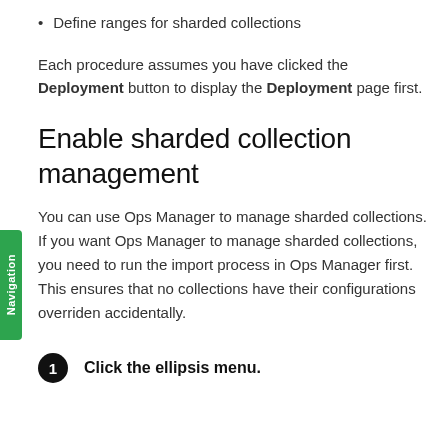Define ranges for sharded collections
Each procedure assumes you have clicked the Deployment button to display the Deployment page first.
Enable sharded collection management
You can use Ops Manager to manage sharded collections. If you want Ops Manager to manage sharded collections, you need to run the import process in Ops Manager first. This ensures that no collections have their configurations overriden accidentally.
1 Click the ellipsis menu.